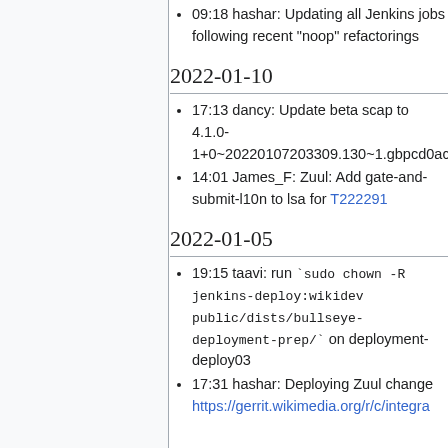09:18 hashar: Updating all Jenkins jobs following recent "noop" refactorings
2022-01-10
17:13 dancy: Update beta scap to 4.1.0-1+0~20220107203309.130~1.gbpcd0ac
14:01 James_F: Zuul: Add gate-and-submit-l10n to lsa for T222291
2022-01-05
19:15 taavi: run `sudo chown -R jenkins-deploy:wikidev public/dists/bullseye-deployment-prep/` on deployment-deploy03
17:31 hashar: Deploying Zuul change https://gerrit.wikimedia.org/r/c/integra